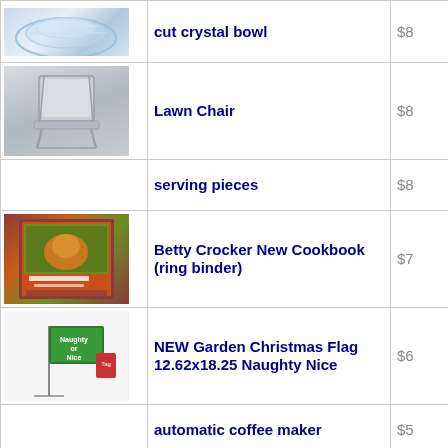| Image | Name | Price |
| --- | --- | --- |
| [crystal bowl image] | cut crystal bowl | $8 |
| [lawn chair image] | Lawn Chair | $8 |
|  | serving pieces | $8 |
| [cookbook image] | Betty Crocker New Cookbook (ring binder) | $7 |
| [flag image] | NEW Garden Christmas Flag 12.62x18.25 Naughty Nice | $6 |
|  | automatic coffee maker | $5 |
| [chicken cooker image] | chicken cooker | $5 |
|  | story book dolls | $5 |
| [wood chest image] | wood chest | $5 |